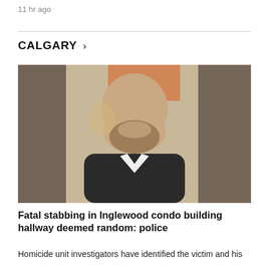11 hr ago
CALGARY >
[Figure (photo): Portrait photo of a bald, bearded man smiling, wearing a dark blazer and white shirt, photographed at an indoor event with blurred background in warm tones.]
Fatal stabbing in Inglewood condo building hallway deemed random: police
Homicide unit investigators have identified the victim and his